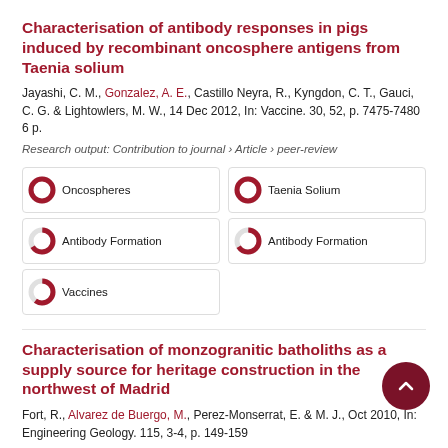Characterisation of antibody responses in pigs induced by recombinant oncosphere antigens from Taenia solium
Jayashi, C. M., Gonzalez, A. E., Castillo Neyra, R., Kyngdon, C. T., Gauci, C. G. & Lightowlers, M. W., 14 Dec 2012, In: Vaccine. 30, 52, p. 7475-7480 6 p.
Research output: Contribution to journal › Article › peer-review
[Figure (infographic): Keyword badges: Oncospheres (100%), Taenia Solium (100%), Antibody Formation (66%), Antibody Formation (66%), Vaccines (60%)]
Characterisation of monzogranitic batholiths as a supply source for heritage construction in the northwest of Madrid
Fort, R., Alvarez de Buergo, M., Perez-Monserrat, E. & M. J., Oct 2010, In: Engineering Geology. 115, 3-4, p. 149-159